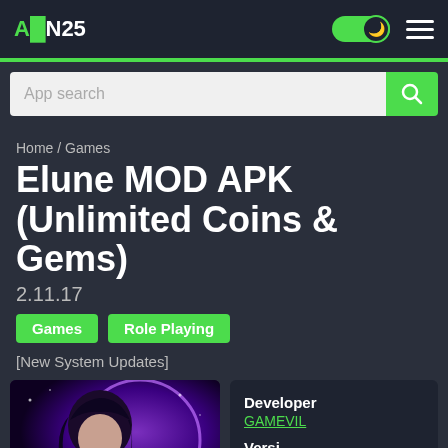AN25 - App search
Home / Games
Elune MOD APK (Unlimited Coins & Gems)
2.11.17
Games
Role Playing
[New System Updates]
[Figure (photo): Anime-style game character with dark hair and purple background]
Developer
GAMEVIL
Versi...